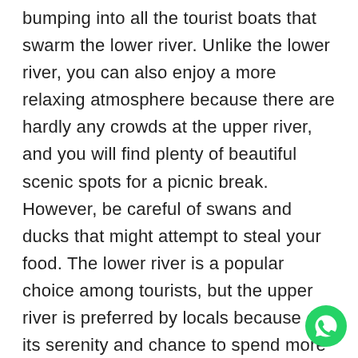bumping into all the tourist boats that swarm the lower river. Unlike the lower river, you can also enjoy a more relaxing atmosphere because there are hardly any crowds at the upper river, and you will find plenty of beautiful scenic spots for a picnic break. However, be careful of swans and ducks that might attempt to steal your food. The lower river is a popular choice among tourists, but the upper river is preferred by locals because of its serenity and chance to spend more time on the river. You should not have any problems buying tickets at the last minute, but it is always better to book those beforehand because Cambridge gets very crowded during the warmer months. If you are only visiting for a day, you might miss out on a punting in
[Figure (logo): WhatsApp green circular button icon in bottom right corner]